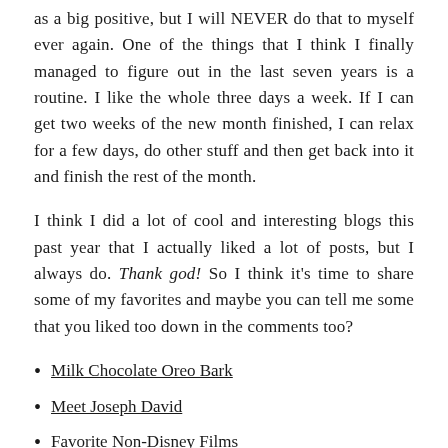as a big positive, but I will NEVER do that to myself ever again. One of the things that I think I finally managed to figure out in the last seven years is a routine. I like the whole three days a week. If I can get two weeks of the new month finished, I can relax for a few days, do other stuff and then get back into it and finish the rest of the month.
I think I did a lot of cool and interesting blogs this past year that I actually liked a lot of posts, but I always do. Thank god! So I think it's time to share some of my favorites and maybe you can tell me some that you liked too down in the comments too?
Milk Chocolate Oreo Bark
Meet Joseph David
Favorite Non-Disney Films
A Love Like Gomez and Morticia Addams